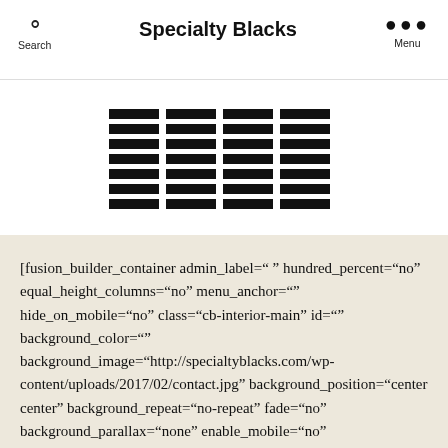Specialty Blacks
[Figure (other): Grid icon consisting of 4 columns each with 7 horizontal black bars, resembling a table/grid layout icon]
[fusion_builder_container admin_label=" " hundred_percent="no" equal_height_columns="no" menu_anchor="" hide_on_mobile="no" class="cb-interior-main" id="" background_color="" background_image="http://specialtyblacks.com/wp-content/uploads/2017/02/contact.jpg" background_position="center center" background_repeat="no-repeat" fade="no" background_parallax="none" enable_mobile="no"